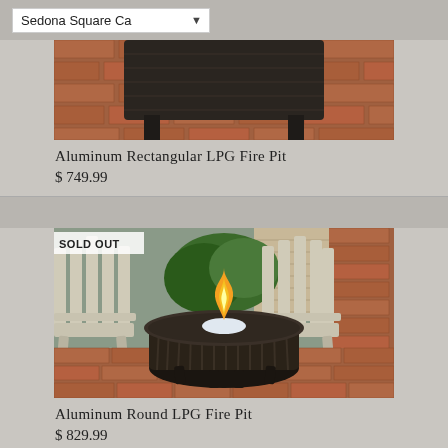Sedona Square Ca
[Figure (photo): Aluminum rectangular LPG fire pit on brick patio, dark metal frame, partially cropped]
Aluminum Rectangular LPG Fire Pit
$ 749.99
[Figure (photo): Aluminum round LPG fire pit with open flame, set outdoors between two white Adirondack chairs on brick patio, with SOLD OUT badge]
Aluminum Round LPG Fire Pit
$ 829.99